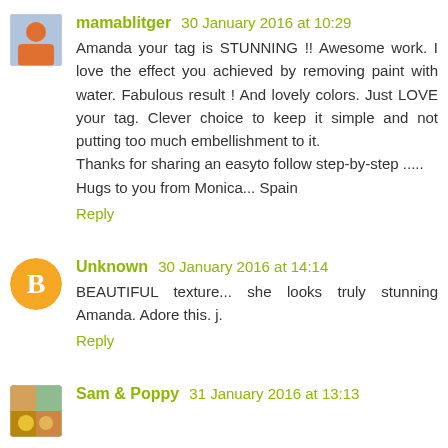mamablitger 30 January 2016 at 10:29
Amanda your tag is STUNNING !! Awesome work. I love the effect you achieved by removing paint with water. Fabulous result ! And lovely colors. Just LOVE your tag. Clever choice to keep it simple and not putting too much embellishment to it.
Thanks for sharing an easyto follow step-by-step .....
Hugs to you from Monica... Spain
Reply
Unknown 30 January 2016 at 14:14
BEAUTIFUL texture... she looks truly stunning Amanda. Adore this. j.
Reply
Sam & Poppy 31 January 2016 at 13:13